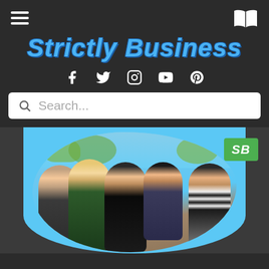Strictly Business - navigation header with hamburger menu, book icon, social icons (Facebook, Twitter, Instagram, YouTube, Pinterest), and search bar
Strictly Business
[Figure (photo): Group photo of five young women smiling outdoors against a blue sky with trees. Photo has a wavy blob-shaped frame on a light blue background. Green 'SB' badge in upper right corner.]